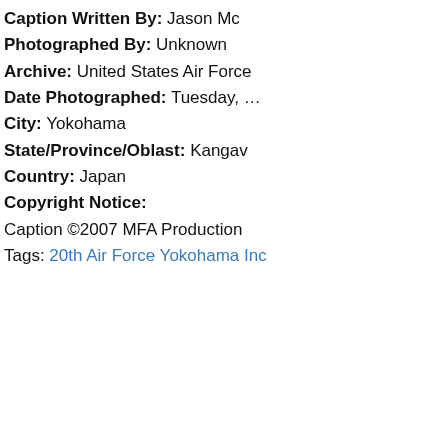Caption Written By: Jason Mc…
Photographed By: Unknown
Archive: United States Air Force…
Date Photographed: Tuesday, …
City: Yokohama
State/Province/Oblast: Kangav…
Country: Japan
Copyright Notice:
Caption ©2007 MFA Production…
Tags: 20th Air Force   Yokohama   Inc…